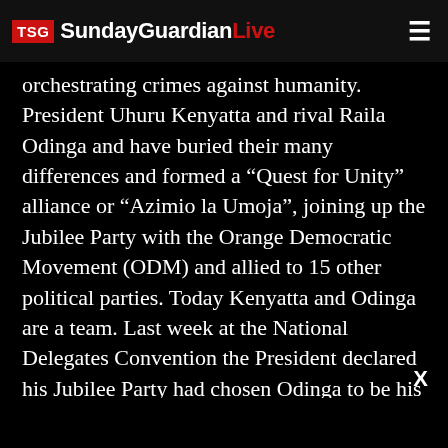TSG SundayGuardianLive
orchestrating crimes against humanity. President Uhuru Kenyatta and rival Raila Odinga and have buried their many differences and formed a “Quest for Unity” alliance or “Azimio la Umoja”, joining up the Jubilee Party with the Orange Democratic Movement (ODM) and allied to 15 other political parties. Today Kenyatta and Odinga are a team. Last week at the National Delegates Convention the President declared his Jubilee Party had chosen Odinga to be his Presidential successor. This amity began in 2018 with the famous handshake between political opponents that was supposed to symbolise a new national unity/inclusiveness and the end of past injustices, known popularly as the BBI, the